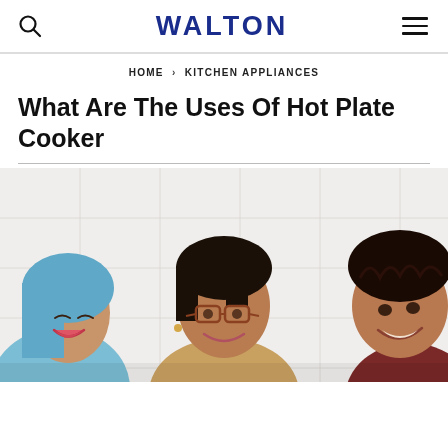WALTON
HOME › KITCHEN APPLIANCES
What Are The Uses Of Hot Plate Cooker
[Figure (photo): Three people smiling in a kitchen setting — a woman in a blue headscarf on the left, an older woman with glasses in the center, and a young man on the right, all appearing happy and engaged in cooking.]